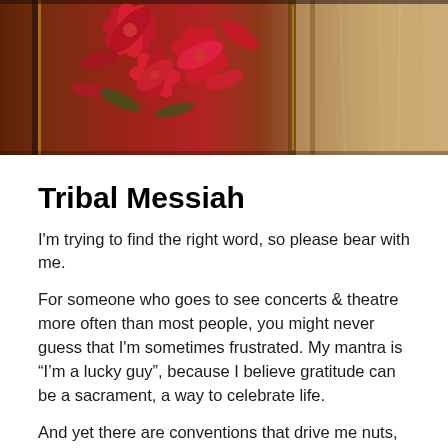[Figure (photo): A photograph showing red/pink flowers (poinsettias) and what appears to be fur or fabric in warm brown/tan tones, with mirror or metallic frames visible.]
Tribal Messiah
I'm trying to find the right word, so please bear with me.
For someone who goes to see concerts & theatre more often than most people, you might never guess that I'm sometimes frustrated. My mantra is “I’m a lucky guy”, because I believe gratitude can be a sacrament, a way to celebrate life.
And yet there are conventions that drive me nuts, barriers to being real. At classical concerts we’re not supposed to clap between movements, and people look down their noses at those who do: even if those spontaneous